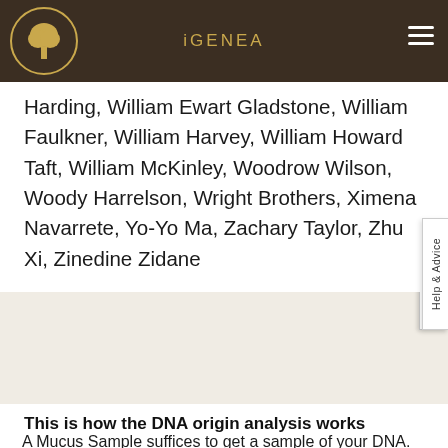iGENEA
Harding, William Ewart Gladstone, William Faulkner, William Harvey, William Howard Taft, William McKinley, Woodrow Wilson, Woody Harrelson, Wright Brothers, Ximena Navarrete, Yo-Yo Ma, Zachary Taylor, Zhu Xi, Zinedine Zidane
This is how the DNA origin analysis works
A Mucus Sample suffices to get a sample of your DNA. Taking the sample is simple and painless and can be done at home. Send the samples with the envelop included in the sampling kit.
[Figure (illustration): Two illustration boxes showing sampling steps]
Help & Advice